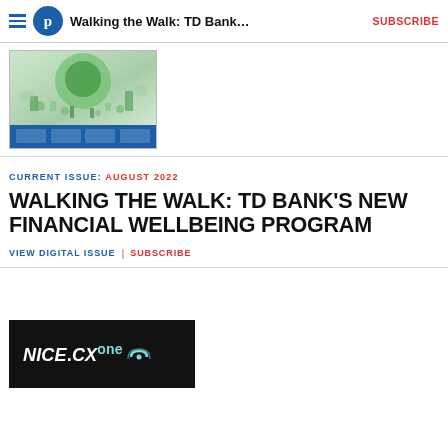Walking the Walk: TD Bank... SUBSCRIBE
[Figure (illustration): Magazine cover illustration showing green figures and plants with a table/infographic section at the bottom in blue]
CURRENT ISSUE: AUGUST 2022
WALKING THE WALK: TD BANK'S NEW FINANCIAL WELLBEING PROGRAM
VIEW DIGITAL ISSUE | SUBSCRIBE
[Figure (logo): NICE CXone logo in white text on black background]